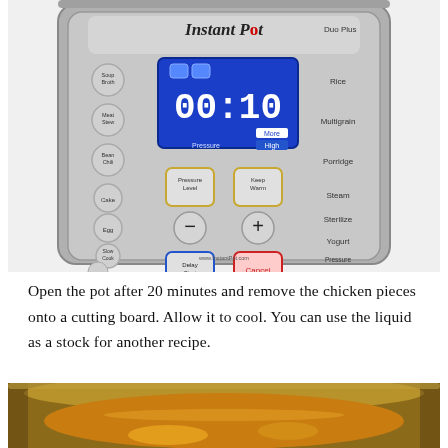[Figure (photo): Photo of an Instant Pot Duo Plus pressure cooker control panel showing digital display reading 00:10, with buttons including Soup/Broth, Meat/Stew, Bean/Chili, Cake, Egg, Slow Cook, Saute on the left; Rice, Multigrain, Porridge, Steam, Sterilize, Yogurt, Pressure Cook on the right; Pressure Level, Keep Warm, Delay Start, Cancel buttons in the center; and minus/plus buttons.]
Open the pot after 20 minutes and remove the chicken pieces onto a cutting board. Allow it to cool. You can use the liquid as a stock for another recipe.
[Figure (photo): Photo of the inside of an Instant Pot showing golden-orange liquid/stock with chicken pieces, photographed from above.]